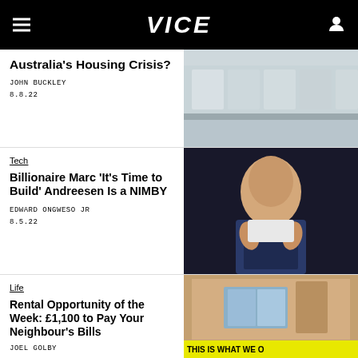VICE
Australia's Housing Crisis?
JOHN BUCKLEY
8.8.22
[Figure (photo): Trains in a rail yard, grey sky background]
Tech
Billionaire Marc ‘It’s Time to Build’ Andreesen Is a NIMBY
EDWARD ONGWESO JR
8.5.22
[Figure (photo): Bald man in suit gesturing with hands on dark background]
Life
Rental Opportunity of the Week: £1,100 to Pay Your Neighbour’s Bills
JOEL GOLBY
[Figure (photo): Small apartment interior with window and kitchen, yellow banner text THIS IS WHAT WE O...]